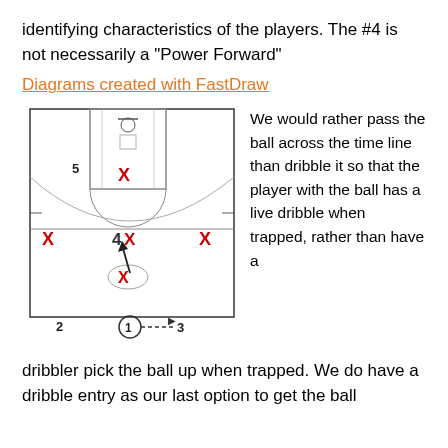identifying characteristics of the players. The #4 is not necessarily a "Power Forward"
Diagrams created with FastDraw
[Figure (illustration): Basketball half-court diagram showing positions: player 5 (X) near the key, two X marks on the wings at mid-court level, player 4X at center with an arrow pointing up-left, X player near baseline with dashed pass to player 1 circled at bottom, dashed arrow to player 3. Player 2 labeled at bottom left.]
We would rather pass the ball across the time line than dribble it so that the player with the ball has a live dribble when trapped, rather than have a
dribbler pick the ball up when trapped. We do have a dribble entry as our last option to get the ball